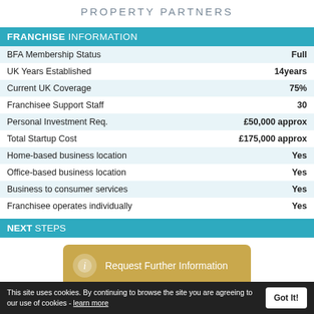PROPERTY PARTNERS
FRANCHISE INFORMATION
|  |  |
| --- | --- |
| BFA Membership Status | Full |
| UK Years Established | 14years |
| Current UK Coverage | 75% |
| Franchisee Support Staff | 30 |
| Personal Investment Req. | £50,000 approx |
| Total Startup Cost | £175,000 approx |
| Home-based business location | Yes |
| Office-based business location | Yes |
| Business to consumer services | Yes |
| Franchisee operates individually | Yes |
NEXT STEPS
[Figure (infographic): Gold rounded button with info icon and text 'Request Further Information']
This site uses cookies. By continuing to browse the site you are agreeing to our use of cookies - learn more   Got It!